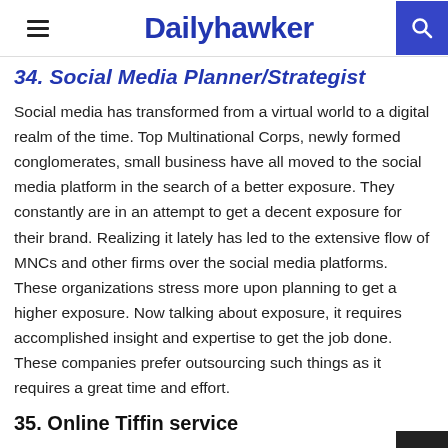Dailyhawker
34. Social Media Planner/Strategist
Social media has transformed from a virtual world to a digital realm of the time. Top Multinational Corps, newly formed conglomerates, small business have all moved to the social media platform in the search of a better exposure. They constantly are in an attempt to get a decent exposure for their brand. Realizing it lately has led to the extensive flow of MNCs and other firms over the social media platforms. These organizations stress more upon planning to get a higher exposure. Now talking about exposure, it requires accomplished insight and expertise to get the job done. These companies prefer outsourcing such things as it requires a great time and effort.
35. Online Tiffin service